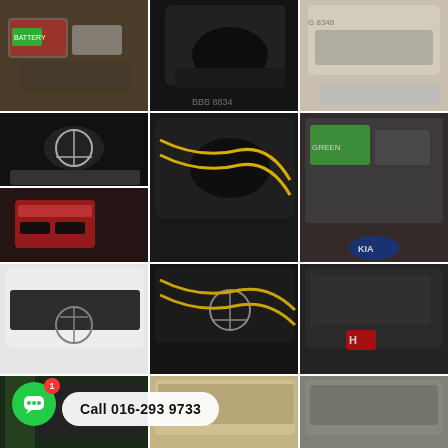[Figure (photo): Grid of 12 car engine/battery photos showing auto battery replacement service. Bottom overlay shows chat icon with notification badge and 'Call 016-293 9733' button.]
Call 016-293 9733